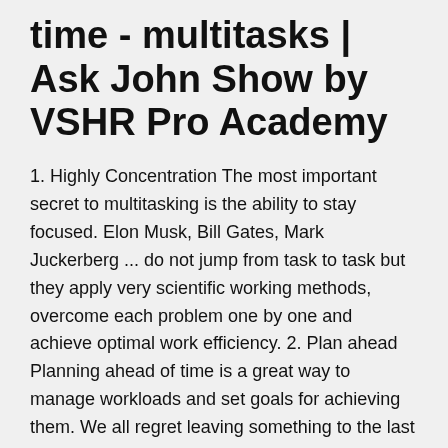time - multitasks | Ask John Show by VSHR Pro Academy
1. Highly Concentration The most important secret to multitasking is the ability to stay focused. Elon Musk, Bill Gates, Mark Juckerberg ... do not jump from task to task but they apply very scientific working methods, overcome each problem one by one and achieve optimal work efficiency. 2. Plan ahead Planning ahead of time is a great way to manage workloads and set goals for achieving them. We all regret leaving something to the last minute, but by making a planner or to-do